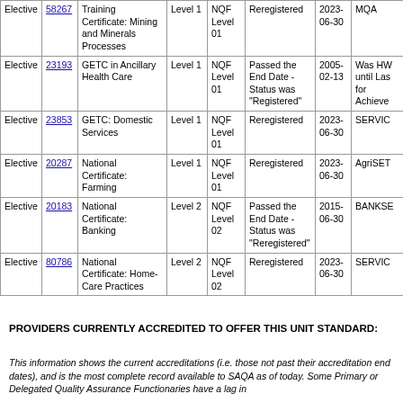|  | ID | Qualification Title | Sub-framework Level | NQF Level | Registration Status | End Date | Quality Council |
| --- | --- | --- | --- | --- | --- | --- | --- |
| Elective | 58267 | Training Certificate: Mining and Minerals Processes | Level 1 | NQF Level 01 | Reregistered | 2023-06-30 | MQA |
| Elective | 23193 | GETC in Ancillary Health Care | Level 1 | NQF Level 01 | Passed the End Date - Status was "Registered" | 2005-02-13 | Was HW until Las for Achieve |
| Elective | 23853 | GETC: Domestic Services | Level 1 | NQF Level 01 | Reregistered | 2023-06-30 | SERVIC |
| Elective | 20287 | National Certificate: Farming | Level 1 | NQF Level 01 | Reregistered | 2023-06-30 | AgriSET |
| Elective | 20183 | National Certificate: Banking | Level 2 | NQF Level 02 | Passed the End Date - Status was "Reregistered" | 2015-06-30 | BANKSE |
| Elective | 80786 | National Certificate: Home-Care Practices | Level 2 | NQF Level 02 | Reregistered | 2023-06-30 | SERVIC |
PROVIDERS CURRENTLY ACCREDITED TO OFFER THIS UNIT STANDARD:
This information shows the current accreditations (i.e. those not past their accreditation end dates), and is the most complete record available to SAQA as of today. Some Primary or Delegated Quality Assurance Functionaries have a lag in